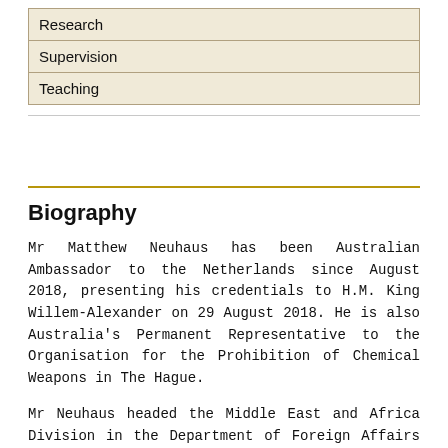| Research |
| Supervision |
| Teaching |
Biography
Mr Matthew Neuhaus has been Australian Ambassador to the Netherlands since August 2018, presenting his credentials to H.M. King Willem-Alexander on 29 August 2018. He is also Australia's Permanent Representative to the Organisation for the Prohibition of Chemical Weapons in The Hague.
Mr Neuhaus headed the Middle East and Africa Division in the Department of Foreign Affairs and Trade (DFAT) from May